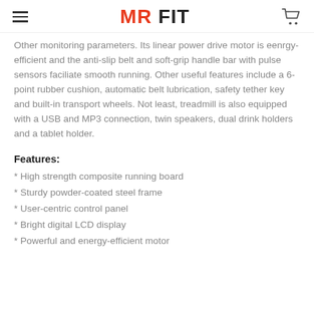MR FIT
Other monitoring parameters. Its linear power drive motor is eenrgy-efficient and the anti-slip belt and soft-grip handle bar with pulse sensors faciliate smooth running. Other useful features include a 6-point rubber cushion, automatic belt lubrication, safety tether key and built-in transport wheels. Not least, treadmill is also equipped with a USB and MP3 connection, twin speakers, dual drink holders and a tablet holder.
Features:
* High strength composite running board
* Sturdy powder-coated steel frame
* User-centric control panel
* Bright digital LCD display
* Powerful and energy-efficient motor